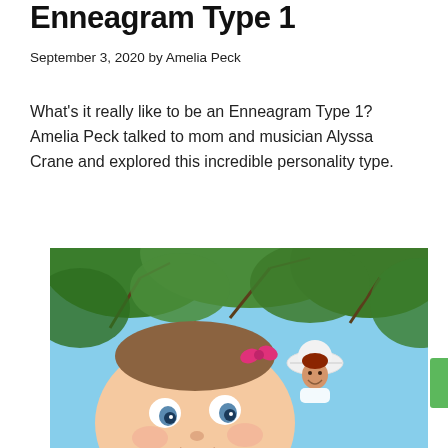Enneagram Type 1
September 3, 2020 by Amelia Peck
What's it really like to be an Enneagram Type 1? Amelia Peck talked to mom and musician Alyssa Crane and explored this incredible personality type.
[Figure (photo): Outdoor photo showing a baby in the foreground with a pink bow in her hair, and a smiling woman wearing a white hat in the background, surrounded by green trees and blue sky.]